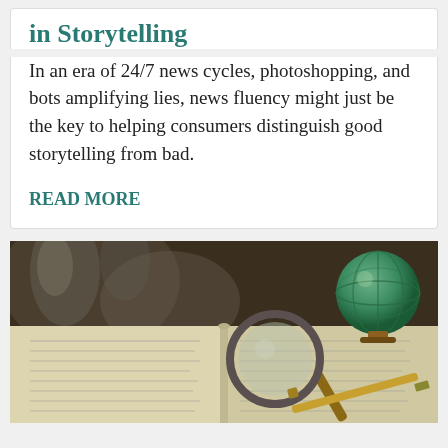in Storytelling
In an era of 24/7 news cycles, photoshopping, and bots amplifying lies, news fluency might just be the key to helping consumers distinguish good storytelling from bad.
READ MORE
[Figure (photo): A magnifying glass and pen resting on an open book, with a globe and blurred glassware in the background. Dark, moody lighting with warm tones.]